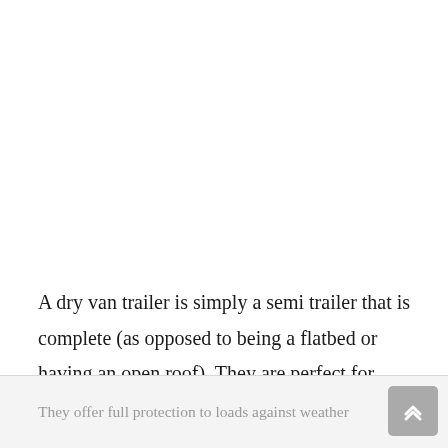A dry van trailer is simply a semi trailer that is complete (as opposed to being a flatbed or having an open roof). They are perfect for transporting boxed freight, loose freight, and palletized freight.
They offer full protection to loads against weather